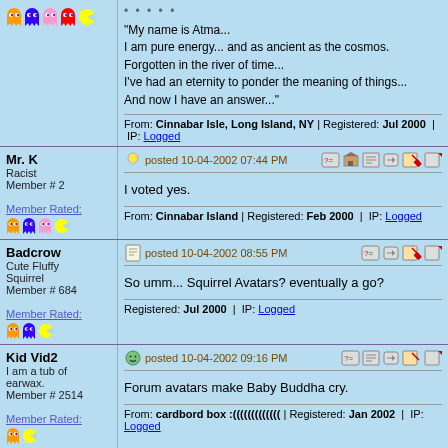"My name is Atma... I am pure energy... and as ancient as the cosmos. Forgotten in the river of time... I've had an eternity to ponder the meaning of things... And now I have an answer..."
From: Cinnabar Isle, Long Island, NY | Registered: Jul 2000 | IP: Logged
Mr. K
Racist
Member # 2
Member Rated:
posted 10-04-2002 07:44 PM
I voted yes.
From: Cinnabar Island | Registered: Feb 2000 | IP: Logged
Badcrow
Cute Fluffy Squirrel
Member # 684
Member Rated:
posted 10-04-2002 08:55 PM
So umm... Squirrel Avatars? eventually a go?
Registered: Jul 2000 | IP: Logged
Kid Vid2
I am a tub of earwax.
Member # 2514
Member Rated:
posted 10-04-2002 09:16 PM
Forum avatars make Baby Buddha cry.
From: cardbord box :((((((((((((( | Registered: Jan 2002 | IP: Logged